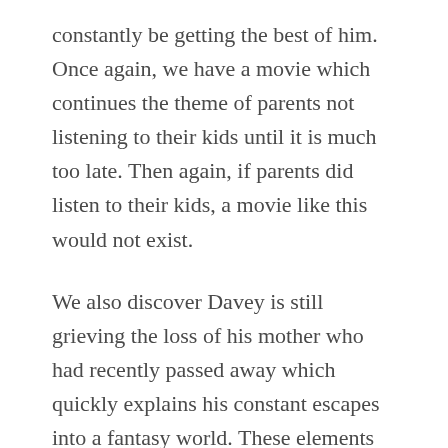constantly be getting the best of him. Once again, we have a movie which continues the theme of parents not listening to their kids until it is much too late. Then again, if parents did listen to their kids, a movie like this would not exist.
We also discover Davey is still grieving the loss of his mother who had recently passed away which quickly explains his constant escapes into a fantasy world. These elements combine together to make Hal believably dubious of his son's claims, making it all the easier for the bad guys to try and capture him, and they are not about to show him mercy just because he is not yet a teenager.